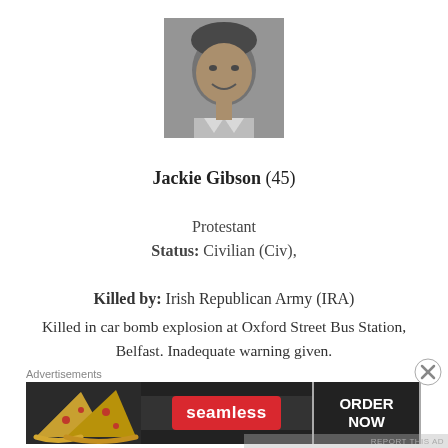[Figure (photo): Black and white portrait photo of Jackie Gibson, a middle-aged man smiling]
Jackie Gibson  (45)
Protestant
Status: Civilian (Civ),
Killed by: Irish Republican Army (IRA)
Killed in car bomb explosion at Oxford Street Bus Station, Belfast. Inadequate warning given.
Advertisements
[Figure (other): Seamless food delivery advertisement banner with pizza image, Seamless red logo badge, and ORDER NOW button]